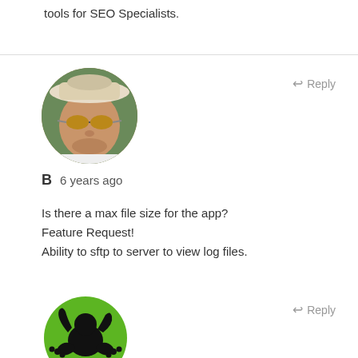tools for SEO Specialists.
Reply
[Figure (photo): Circular avatar photo of a man wearing sunglasses and a bucket hat outdoors]
B  6 years ago
Is there a max file size for the app?
Feature Request!
Ability to sftp to server to view log files.
Reply
[Figure (logo): Green circle logo with a black frog silhouette (Screaming Frog logo), partially visible]